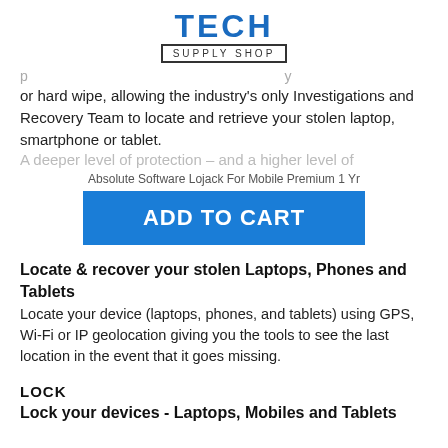[Figure (logo): Tech Supply Shop logo with TECH in bold blue and SUPPLY SHOP in bordered box below]
or hard wipe, allowing the industry's only Investigations and Recovery Team to locate and retrieve your stolen laptop, smartphone or tablet.
Absolute Software Lojack For Mobile Premium 1 Yr
ADD TO CART
Locate & recover your stolen Laptops, Phones and Tablets
Locate your device (laptops, phones, and tablets) using GPS, Wi-Fi or IP geolocation giving you the tools to see the last location in the event that it goes missing.
LOCK
Lock your devices - Laptops, Mobiles and Tablets